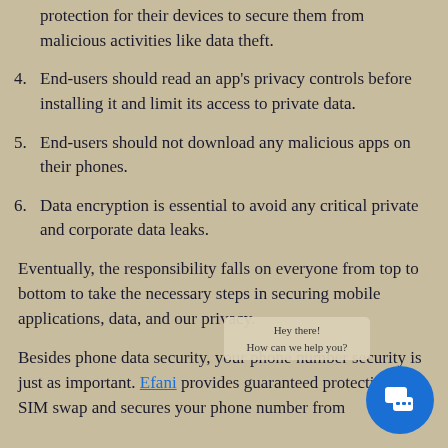protection for their devices to secure them from malicious activities like data theft.
4. End-users should read an app's privacy controls before installing it and limit its access to private data.
5. End-users should not download any malicious apps on their phones.
6. Data encryption is essential to avoid any critical private and corporate data leaks.
Eventually, the responsibility falls on everyone from top to bottom to take the necessary steps in securing mobile applications, data, and our privacy.
Besides phone data security, your phone number security is just as important. Efani provides guaranteed protection from SIM swap and secures your phone number from